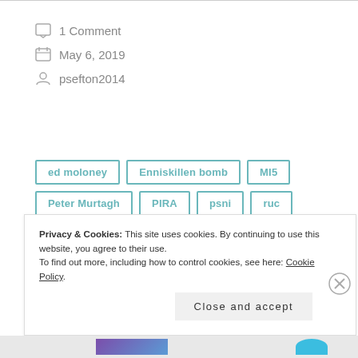1 Comment
May 6, 2019
psefton2014
ed moloney
Enniskillen bomb
MI5
Peter Murtagh
PIRA
psni
ruc
ruc special branch
SEFF
Privacy & Cookies: This site uses cookies. By continuing to use this website, you agree to their use. To find out more, including how to control cookies, see here: Cookie Policy
Close and accept